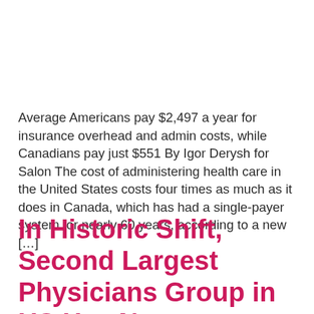Average Americans pay $2,497 a year for insurance overhead and admin costs, while Canadians pay just $551 By Igor Derysh for Salon The cost of administering health care in the United States costs four times as much as it does in Canada, which has had a single-payer system for nearly 60 years, according to a new […]
In Historic Shift, Second Largest Physicians Group in US Has New Prescription: It's Medicare for All